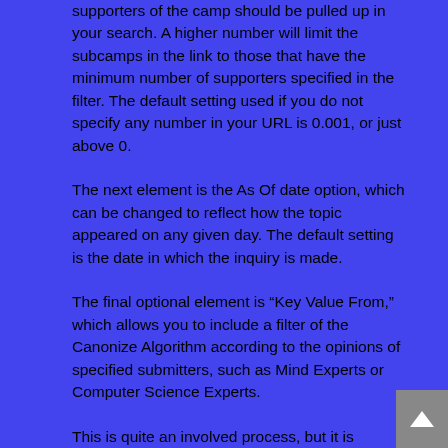supporters of the camp should be pulled up in your search. A higher number will limit the subcamps in the link to those that have the minimum number of supporters specified in the filter. The default setting used if you do not specify any number in your URL is 0.001, or just above 0.
The next element is the As Of date option, which can be changed to reflect how the topic appeared on any given day. The default setting is the date in which the inquiry is made.
The final optional element is “Key Value From,” which allows you to include a filter of the Canonize Algorithm according to the opinions of specified submitters, such as Mind Experts or Computer Science Experts.
This is quite an involved process, but it is important to note that building and formatting a link from scratch is not necessary for most users to easily navigate Canonizer content.